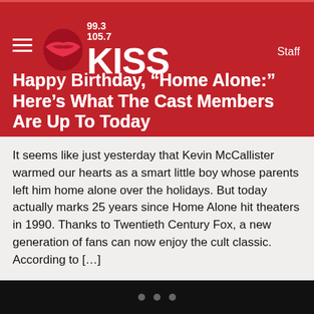99.3 / 105.7 KISS FM Staff
Happy Birthday, “Home Alone:” Here’s What The Cast Members Are Up To Today
It seems like just yesterday that Kevin McCallister warmed our hearts as a smart little boy whose parents left him home alone over the holidays. But today actually marks 25 years since Home Alone hit theaters in 1990. Thanks to Twentieth Century Fox, a new generation of fans can now enjoy the cult classic. According to […]
[Figure (photo): Broken image placeholder (white rectangle with small broken image icon in top-left corner)]